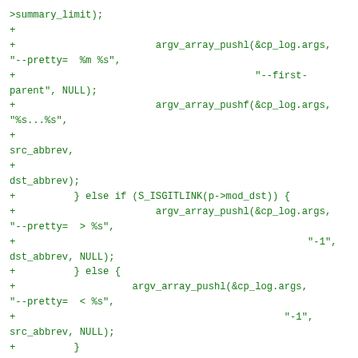>summary_limit);
+
+                        argv_array_pushl(&cp_log.args, "--pretty=  %m %s",
+                                                         "--first-parent", NULL);
+                        argv_array_pushf(&cp_log.args, "%s...%s",
+                                                         src_abbrev,
+                                                         dst_abbrev);
+          } else if (S_ISGITLINK(p->mod_dst)) {
+                        argv_array_pushl(&cp_log.args, "--pretty=  > %s",
+                                                         "-1",
+dst_abbrev, NULL);
+          } else {
+                        argv_array_pushl(&cp_log.args, "--pretty=  < %s",
+                                                         "-1",
+src_abbrev, NULL);
+          }
+          run_command(&cp_log);
+     }
+     printf("\n");
+}
+
+static void generate_submodule_summary(struct summary_cb *info,
+                                                         struct module_cb *p)